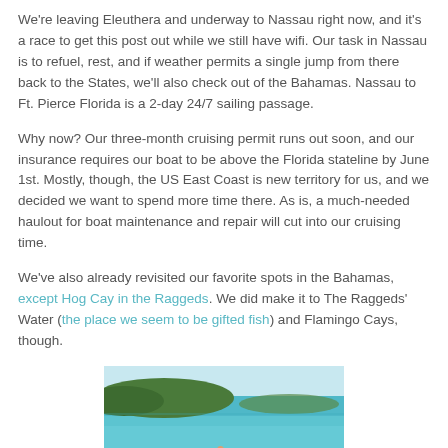We're leaving Eleuthera and underway to Nassau right now, and it's a race to get this post out while we still have wifi. Our task in Nassau is to refuel, rest, and if weather permits a single jump from there back to the States, we'll also check out of the Bahamas. Nassau to Ft. Pierce Florida is a 2-day 24/7 sailing passage.
Why now? Our three-month cruising permit runs out soon, and our insurance requires our boat to be above the Florida stateline by June 1st. Mostly, though, the US East Coast is new territory for us, and we decided we want to spend more time there. As is, a much-needed haulout for boat maintenance and repair will cut into our cruising time.
We've also already revisited our favorite spots in the Bahamas, except Hog Cay in the Raggeds. We did make it to The Raggeds' Water (the place we seem to be gifted fish) and Flamingo Cays, though.
[Figure (photo): Scenic photo of turquoise ocean water with green hills in the background and a hand reaching up in the foreground]